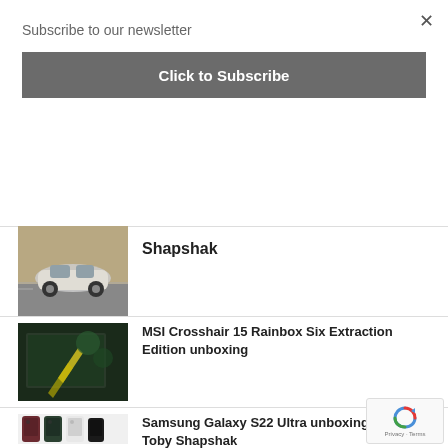Subscribe to our newsletter
×
Click to Subscribe
Shapshak
[Figure (photo): A MINI Cooper car driving on a road]
[Figure (photo): MSI Crosshair 15 Rainbox Six Extraction Edition gaming laptop with yellow accents]
MSI Crosshair 15 Rainbox Six Extraction Edition unboxing
[Figure (photo): Samsung Galaxy S22 Ultra phones in multiple colors lined up]
Samsung Galaxy S22 Ultra unboxing with Toby Shapshak
Privacy · Terms